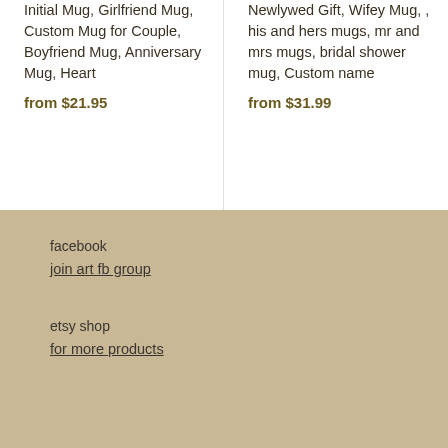Initial Mug, Girlfriend Mug, Custom Mug for Couple, Boyfriend Mug, Anniversary Mug, Heart
from $21.95
Newlywed Gift, Wifey Mug, , his and hers mugs, mr and mrs mugs, bridal shower mug, Custom name
from $31.99
facebook
join art fb group
etsy shop
for more products